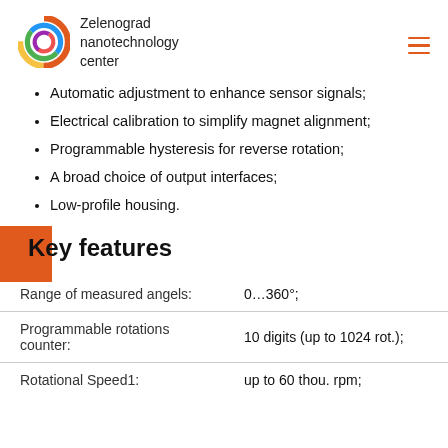Zelenograd nanotechnology center
Automatic adjustment to enhance sensor signals;
Electrical calibration to simplify magnet alignment;
Programmable hysteresis for reverse rotation;
A broad choice of output interfaces;
Low-profile housing.
Key features
| Feature | Value |
| --- | --- |
| Range of measured angels: | 0…360°; |
| Programmable rotations counter: | 10 digits (up to 1024 rot.); |
| Rotational Speed1: | up to 60 thou. rpm; |